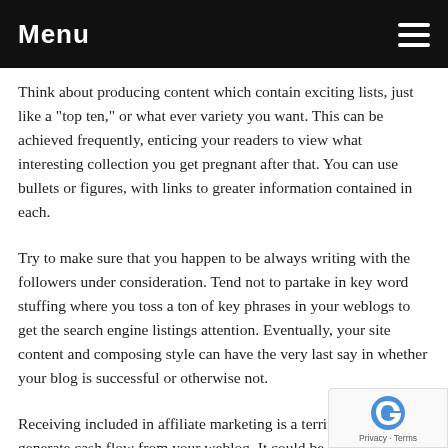Menu
Think about producing content which contain exciting lists, just like a "top ten," or what ever variety you want. This can be achieved frequently, enticing your readers to view what interesting collection you get pregnant after that. You can use bullets or figures, with links to greater information contained in each.
Try to make sure that you happen to be always writing with the followers under consideration. Tend not to partake in key word stuffing where you toss a ton of key phrases in your weblogs to get the search engine listings attention. Eventually, your site content and composing style can have the very last say in whether your blog is successful or otherwise not.
Receiving included in affiliate marketing is a terrific way to generate cash flow from your weblog. It can be extremely effective considering that you can decide